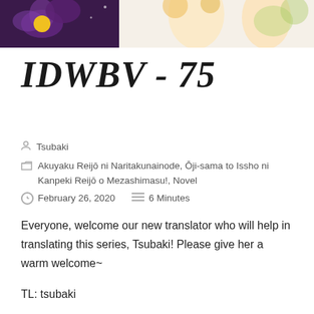[Figure (illustration): Anime-style illustration banner at the top of the page showing floral artwork with a dark purple background on the left with flower/pansy motifs and a light-colored character illustration on the right.]
IDWBV - 75
Tsubaki
Akuyaku Reijō ni Naritakunainode, Ōji-sama to Issho ni Kanpeki Reijō o Mezashimasu!, Novel
February 26, 2020   6 Minutes
Everyone, welcome our new translator who will help in translating this series, Tsubaki! Please give her a warm welcome~
TL: tsubaki